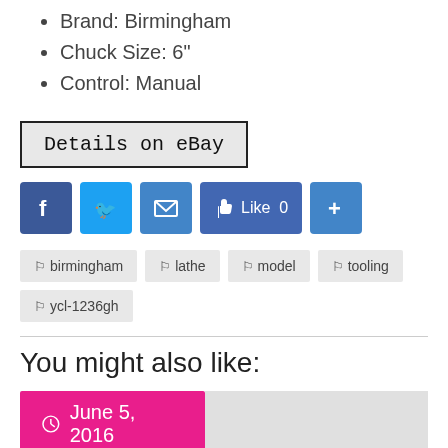Brand: Birmingham
Chuck Size: 6"
Control: Manual
Details on eBay
[Figure (infographic): Social sharing buttons: Facebook, Twitter, Email, Like 0, Plus]
birmingham  lathe  model  tooling  ycl-1236gh
You might also like:
[Figure (infographic): Date banner showing June 5, 2016 in pink/magenta, with a gray preview image area to the right]